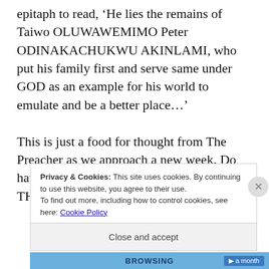epitaph to read, ‘He lies the remains of Taiwo OLUWAWEMIMO Peter ODINAKACHUKWU AKINLAMI, who put his family first and serve same under GOD as an example for his world to emulate and be a better place…’
This is just a food for thought from The Preacher as we approach a new week. Do have an INSPIRED week. I am yours IN THE BEST
Privacy & Cookies: This site uses cookies. By continuing to use this website, you agree to their use.
To find out more, including how to control cookies, see here: Cookie Policy
Close and accept